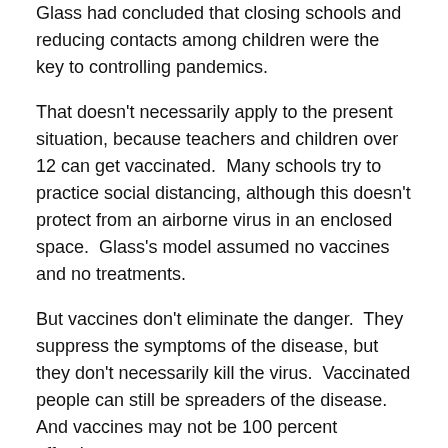Glass had concluded that closing schools and reducing contacts among children were the key to controlling pandemics.
That doesn't necessarily apply to the present situation, because teachers and children over 12 can get vaccinated.  Many schools try to practice social distancing, although this doesn't protect from an airborne virus in an enclosed space.  Glass's model assumed no vaccines and no treatments.
But vaccines don't eliminate the danger.  They suppress the symptoms of the disease, but they don't necessarily kill the virus.  Vaccinated people can still be spreaders of the disease.  And vaccines may not be 100 percent effective.
I don't know what I'd do if I were a parent, except listen to